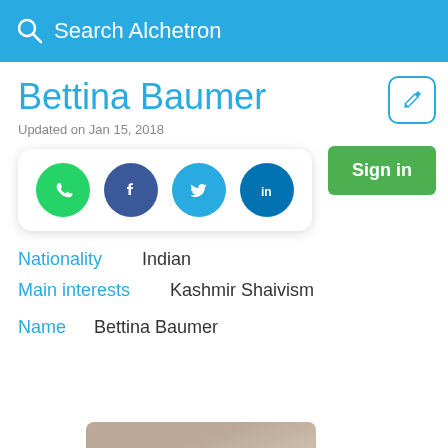Search Alchetron
Bettina Baumer
Updated on Jan 15, 2018
[Figure (infographic): Social sharing buttons: WhatsApp (green), Facebook (dark blue), Twitter (blue), LinkedIn (blue)]
Sign in
Nationality  Indian
Main interests  Kashmir Shaivism
Name  Bettina Baumer
[Figure (photo): Photo of Bettina Baumer, an elderly woman with gray/blonde hair]
Covid-19